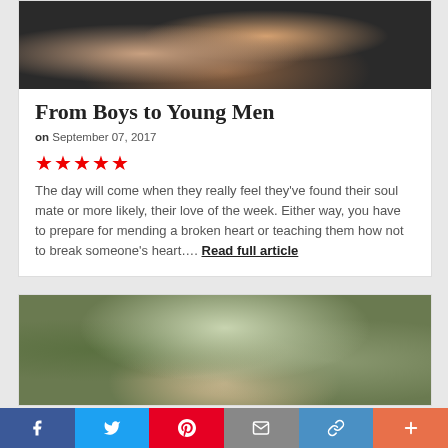[Figure (photo): Close-up photo of two smiling children/boys faces]
From Boys to Young Men
on September 07, 2017
★★★★★
The day will come when they really feel they've found their soul mate or more likely, their love of the week. Either way, you have to prepare for mending a broken heart or teaching them how not to break someone's heart.... Read full article
[Figure (photo): Outdoor photo of a person doing a flip or jump with trees in background]